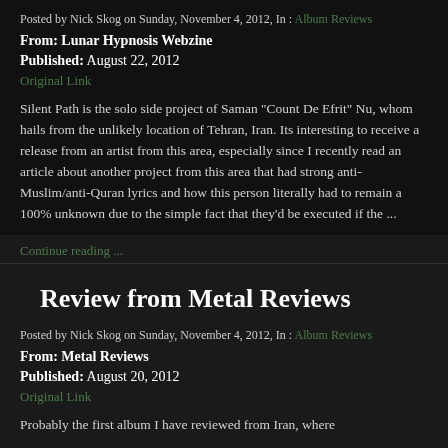Posted by Nick Skog on Sunday, November 4, 2012, In : Album Reviews
From: Lunar Hypnosis Webzine
Published: August 22, 2012
Original Link
Silent Path is the solo side project of Saman "Count De Efrit" Nu, whom hails from the unlikely location of Tehran, Iran. Its interesting to receive a release from an artist from this area, especially since I recently read an article about another project from this area that had strong anti-Muslim/anti-Quran lyrics and how this person literally had to remain a 100% unknown due to the simple fact that they'd be executed if the ...
Continue reading ...
Review from Metal Reviews
Posted by Nick Skog on Sunday, November 4, 2012, In : Album Reviews
From: Metal Reviews
Published: August 20, 2012
Original Link
Probably the first album I have reviewed from Iran, where